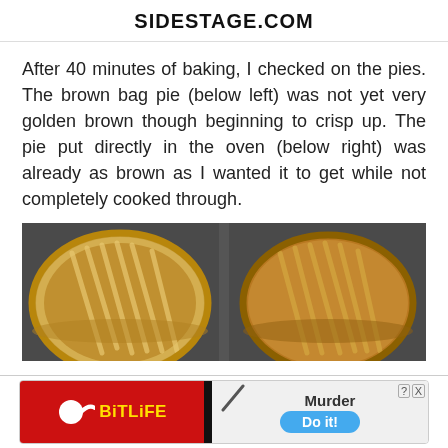SIDESTAGE.COM
After 40 minutes of baking, I checked on the pies. The brown bag pie (below left) was not yet very golden brown though beginning to crisp up. The pie put directly in the oven (below right) was already as brown as I wanted it to get while not completely cooked through.
[Figure (photo): Two baked pies side by side in oven pans. Left pie appears lighter golden, right pie appears darker golden brown.]
[Figure (screenshot): BitLife mobile game advertisement showing red background with sperm logo and yellow BitLife text on left, and 'Murder Do it!' text with blue pill button on right.]